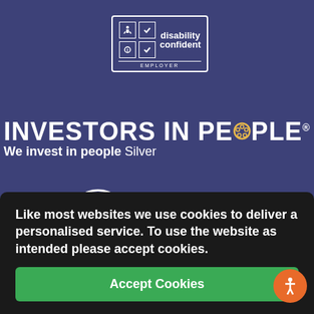[Figure (logo): Disability Confident Employer badge with grid icons and border]
[Figure (logo): Investors in People - We invest in people Silver logo]
[Figure (logo): Registered with Fundraising Regulator logo with FR circle]
[Figure (logo): Inspiring Futures / partial logo (partially obscured by cookie banner)]
(UK) Registered Charity No. 1059202 St Marks Road, St James Ind. Estate, Corby, Northamptonshire NN18 8AN
Like most websites we use cookies to deliver a personalised service. To use the website as intended please accept cookies.
Accept Cookies